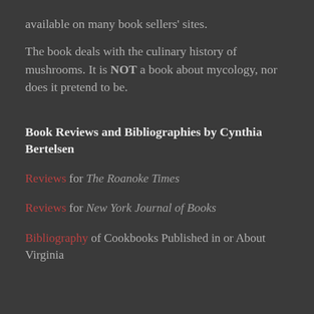available on many book sellers' sites.
The book deals with the culinary history of mushrooms. It is NOT a book about mycology, nor does it pretend to be.
Book Reviews and Bibliographies by Cynthia Bertelsen
Reviews for The Roanoke Times
Reviews for New York Journal of Books
Bibliography of Cookbooks Published in or About Virginia